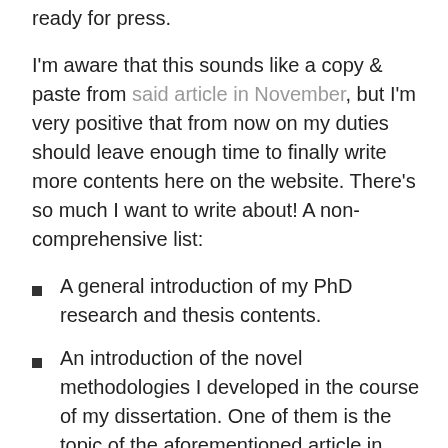ready for press.
I'm aware that this sounds like a copy & paste from said article in November, but I'm very positive that from now on my duties should leave enough time to finally write more contents here on the website. There's so much I want to write about! A non-comprehensive list:
A general introduction of my PhD research and thesis contents.
An introduction of the novel methodologies I developed in the course of my dissertation. One of them is the topic of the aforementioned article in Transactions in GIS, and I'm planning on publishing a few others in journals as well.
Some contents about terrorism in Japan. This is